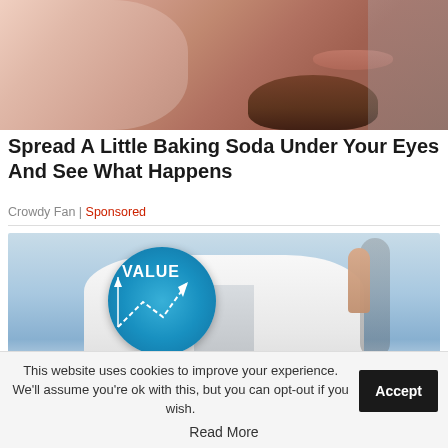[Figure (photo): Close-up photo of a man's face — lower half showing lips, beard stubble, and a hand pressed against the face/temple area]
Spread A Little Baking Soda Under Your Eyes And See What Happens
Crowdy Fan | Sponsored
[Figure (photo): Doctor in white coat with stethoscope pointing one finger up, holding a blue circular diagram labeled VALUE with arrows and dotted lines]
This website uses cookies to improve your experience. We'll assume you're ok with this, but you can opt-out if you wish.
Read More